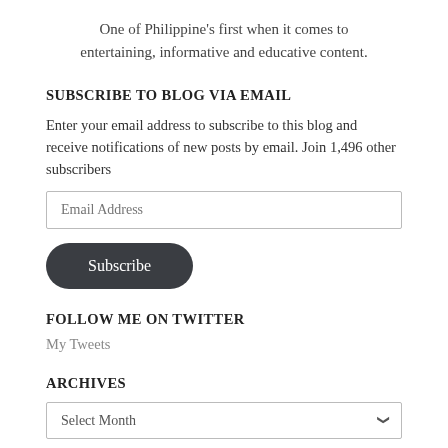One of Philippine's first when it comes to entertaining, informative and educative content.
SUBSCRIBE TO BLOG VIA EMAIL
Enter your email address to subscribe to this blog and receive notifications of new posts by email. Join 1,496 other subscribers
Email Address
Subscribe
FOLLOW ME ON TWITTER
My Tweets
ARCHIVES
Select Month